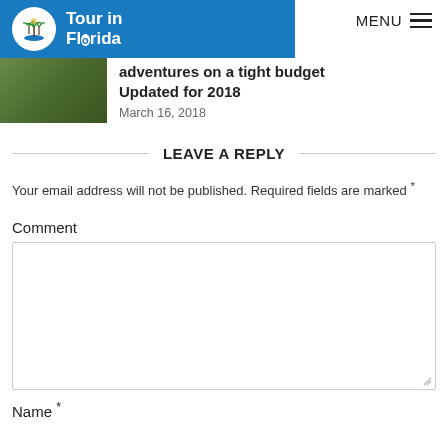Tour in Florida — MENU
adventures on a tight budget Updated for 2018
March 16, 2018
LEAVE A REPLY
Your email address will not be published. Required fields are marked *
Comment
Name *